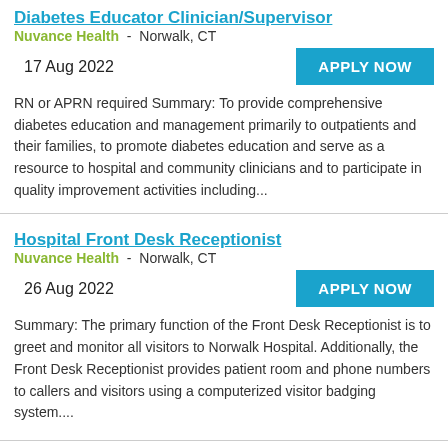Diabetes Educator Clinician/Supervisor
Nuvance Health  -  Norwalk, CT
17 Aug 2022
RN or APRN required Summary: To provide comprehensive diabetes education and management primarily to outpatients and their families, to promote diabetes education and serve as a resource to hospital and community clinicians and to participate in quality improvement activities including...
Hospital Front Desk Receptionist
Nuvance Health  -  Norwalk, CT
26 Aug 2022
Summary: The primary function of the Front Desk Receptionist is to greet and monitor all visitors to Norwalk Hospital. Additionally, the Front Desk Receptionist provides patient room and phone numbers to callers and visitors using a computerized visitor badging system....